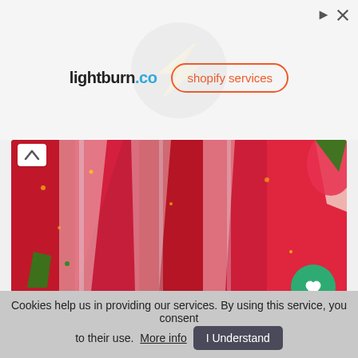[Figure (screenshot): Advertisement banner with lightburn.co logo and shopify services button]
[Figure (photo): Close-up photo of sliced strawberries and a strawberry cake with cream layers, vivid red and pink colors]
recipes
Raw Strawberry Cake
★★★
…can mix nuts. Soak the nuts overnight and they will mix better for you. Before pouring the cream on … body, throw in a few fresh strawberries, which will conjure up a beautiful effect on the cut….
Cookies help us in providing our services. By using this service, you consent to their use. More info  I Understand